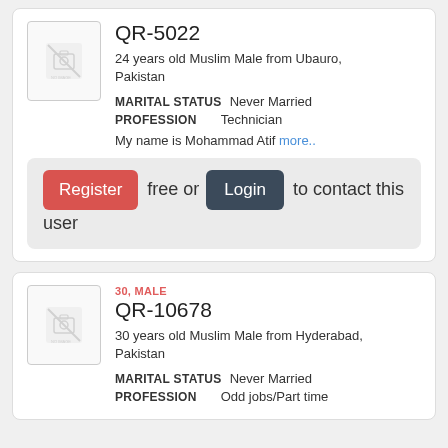[Figure (illustration): Avatar placeholder image with camera-off icon for QR-5022]
QR-5022
24 years old Muslim Male from Ubauro, Pakistan
MARITAL STATUS  Never Married
PROFESSION  Technician
My name is Mohammad Atif more..
Register free or Login to contact this user
[Figure (illustration): Avatar placeholder image with camera-off icon for QR-10678]
30, MALE
QR-10678
30 years old Muslim Male from Hyderabad, Pakistan
MARITAL STATUS  Never Married
PROFESSION  Odd jobs/Part time